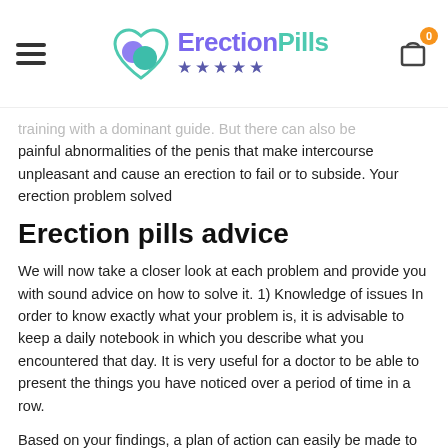ErectionPills ★★★★★
training with a dominant guide. But there can also be painful abnormalities of the penis that make intercourse unpleasant and cause an erection to fail or to subside. Your erection problem solved
Erection pills advice
We will now take a closer look at each problem and provide you with sound advice on how to solve it. 1) Knowledge of issues In order to know exactly what your problem is, it is advisable to keep a daily notebook in which you describe what you encountered that day. It is very useful for a doctor to be able to present the things you have noticed over a period of time in a row.
Based on your findings, a plan of action can easily be made to address your erection problems. A booklet also makes the conversation with your doctor a lot easier. It is not easy to tell a stranger about your erection problem. When you let them read a booklet, they have all the